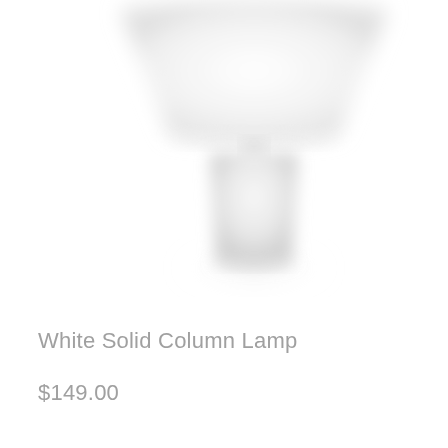[Figure (photo): A white column-style table lamp with a wide cylindrical white shade, blurred/soft focus product photo on white background. The shade is at the top, and a smooth cylindrical white base is visible below.]
White Solid Column Lamp
$149.00